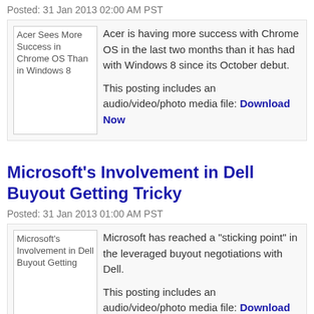Posted: 31 Jan 2013 02:00 AM PST
[Figure (other): Thumbnail image with alt text: Acer Sees More Success in Chrome OS Than in Windows 8]
Acer is having more success with Chrome OS in the last two months than it has had with Windows 8 since its October debut.

This posting includes an audio/video/photo media file: Download Now
Microsoft's Involvement in Dell Buyout Getting Tricky
Posted: 31 Jan 2013 01:00 AM PST
[Figure (other): Thumbnail image with alt text: Microsoft's Involvement in Dell Buyout Getting]
Microsoft has reached a "sticking point" in the leveraged buyout negotiations with Dell.

This posting includes an audio/video/photo media file: Download Now